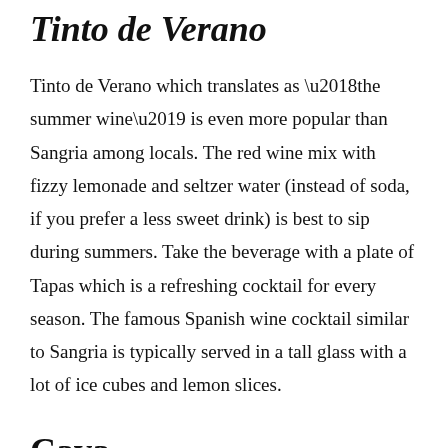Tinto de Verano
Tinto de Verano which translates as ‘the summer wine’ is even more popular than Sangria among locals. The red wine mix with fizzy lemonade and seltzer water (instead of soda, if you prefer a less sweet drink) is best to sip during summers. Take the beverage with a plate of Tapas which is a refreshing cocktail for every season. The famous Spanish wine cocktail similar to Sangria is typically served in a tall glass with a lot of ice cubes and lemon slices.
Cava
Cava is the Spanish answer to French Champagne that vends